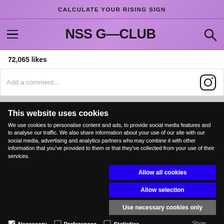CALCULATE YOUR RISING SIGN
NSS G—CLUB
72,065 likes
Add a comment...
This website uses cookies
We use cookies to personalise content and ads, to provide social media features and to analyse our traffic. We also share information about your use of our site with our social media, advertising and analytics partners who may combine it with other information that you've provided to them or that they've collected from your use of their services.
Allow all cookies
Allow selection
Use necessary cookies only
Necessary  Preferences  Statistics  Marketing  Show details